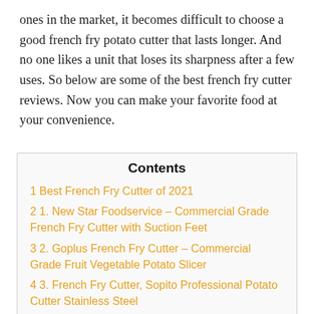ones in the market, it becomes difficult to choose a good french fry potato cutter that lasts longer. And no one likes a unit that loses its sharpness after a few uses. So below are some of the best french fry cutter reviews. Now you can make your favorite food at your convenience.
Contents
1 Best French Fry Cutter of 2021
2 1. New Star Foodservice – Commercial Grade French Fry Cutter with Suction Feet
3 2. Goplus French Fry Cutter – Commercial Grade Fruit Vegetable Potato Slicer
4 3. French Fry Cutter, Sopito Professional Potato Cutter Stainless Steel